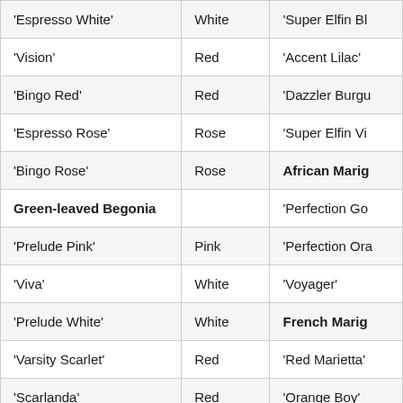| 'Espresso White' | White | 'Super Elfin Bl... |
| 'Vision' | Red | 'Accent Lilac' |
| 'Bingo Red' | Red | 'Dazzler Burgu... |
| 'Espresso Rose' | Rose | 'Super Elfin Vi... |
| 'Bingo Rose' | Rose | African Marig... |
| Green-leaved Begonia |  | 'Perfection Go... |
| 'Prelude Pink' | Pink | 'Perfection Ora... |
| 'Viva' | White | 'Voyager' |
| 'Prelude White' | White | French Marig... |
| 'Varsity Scarlet' | Red | 'Red Marietta' |
| 'Scarlanda' | Red | 'Orange Boy' |